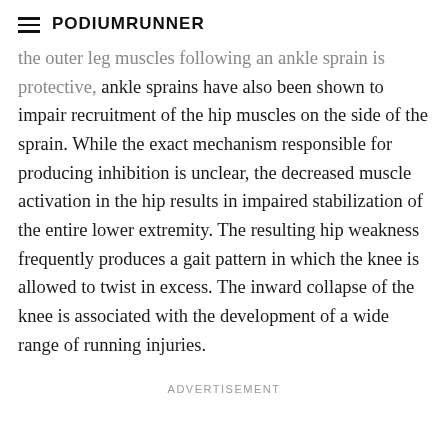PodiumRunner
the outer leg muscles following an ankle sprain is protective, ankle sprains have also been shown to impair recruitment of the hip muscles on the side of the sprain. While the exact mechanism responsible for producing inhibition is unclear, the decreased muscle activation in the hip results in impaired stabilization of the entire lower extremity. The resulting hip weakness frequently produces a gait pattern in which the knee is allowed to twist in excess. The inward collapse of the knee is associated with the development of a wide range of running injuries.
ADVERTISEMENT